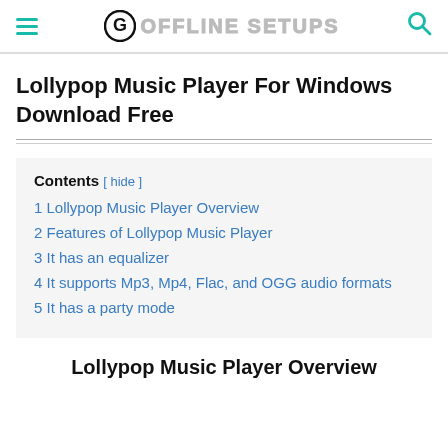OFFLINE SETUPS
Lollypop Music Player For Windows Download Free
1 Lollypop Music Player Overview
2 Features of Lollypop Music Player
3 It has an equalizer
4 It supports Mp3, Mp4, Flac, and OGG audio formats
5 It has a party mode
Lollypop Music Player Overview